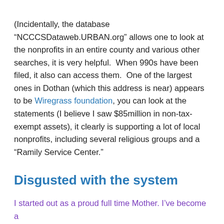(Incidentally, the database “NCCCSDataweb.URBAN.org” allows one to look at the nonprofits in an entire county and various other searches, it is very helpful.  When 990s have been filed, it also can access them.  One of the largest ones in Dothan (which this address is near) appears to be Wiregrass foundation, you can look at the statements (I believe I saw $85million in non-tax-exempt assets), it clearly is supporting a lot of local nonprofits, including several religious groups and a “Ramily Service Center.”
Disgusted with the system
I started out as a proud full time Mother. I’ve become a